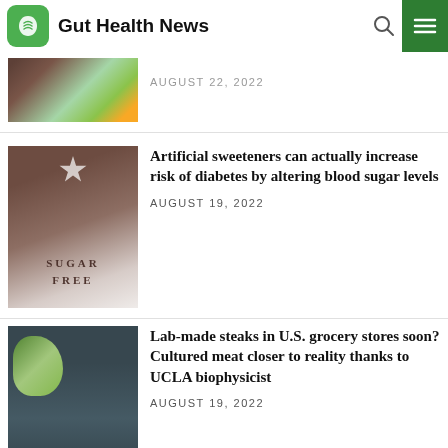Gut Health News
AUGUST 22, 2022
Artificial sweeteners can actually increase risk of diabetes by altering blood sugar levels
AUGUST 19, 2022
Lab-made steaks in U.S. grocery stores soon? Cultured meat closer to reality thanks to UCLA biophysicist
AUGUST 19, 2022